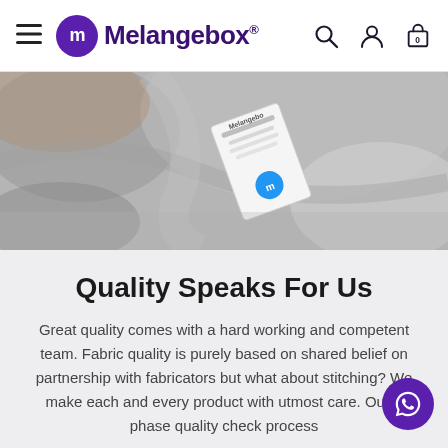Melangebox® — navigation header with hamburger menu, search, account, and cart (0) icons
[Figure (photo): Close-up black and white photo of grey fabric/garment with a Melangebox branded label tag visible, showing the logo and brand details on the tag.]
Quality Speaks For Us
Great quality comes with a hard working and competent team. Fabric quality is purely based on shared belief on partnership with fabricators but what about stitching? We make each and every product with utmost care. Our 3 phase quality check process